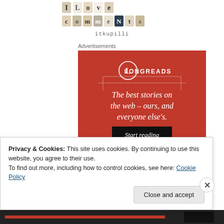[Figure (logo): I Love Comments blog logo with scrabble-tile style letters]
itkupilli
Advertisements
[Figure (infographic): Longreads advertisement on red background: 'The best stories on the web – ours, and everyone else's.' with a 'Start reading' button]
Privacy & Cookies: This site uses cookies. By continuing to use this website, you agree to their use.
To find out more, including how to control cookies, see here: Cookie Policy
Close and accept